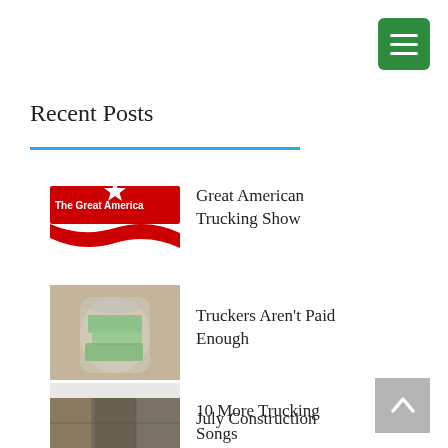[Figure (other): Green hamburger menu button with three white horizontal lines]
Recent Posts
[Figure (logo): The Great American Trucking Show logo - red banner with white star and text]
Great American Trucking Show
[Figure (photo): Money in a glass jar - dollar bills rolled up in a jar]
Truckers Aren't Paid Enough
[Figure (photo): Black headphones/headset on white background]
10 More Trucking Songs
[Figure (other): Gray back-to-top button with upward chevron arrow]
[Figure (photo): Construction photo - partial view at bottom of page]
July Construction